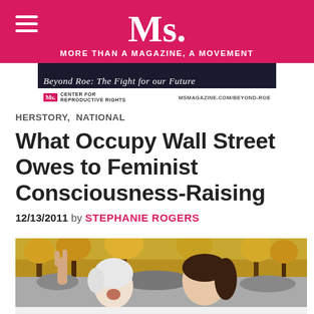Ms. MORE THAN A MAGAZINE, A MOVEMENT
[Figure (photo): Ms. Magazine ad banner for Beyond Roe campaign with Center for Reproductive Rights, msmagazine.com/beyond-roe]
HERSTORY, NATIONAL
What Occupy Wall Street Owes to Feminist Consciousness-Raising
12/13/2011 by STEPHANIE ROGERS
[Figure (photo): Two women at Occupy Wall Street protest, one older woman with white hair making a peace sign, a younger woman with dark hair leaning on her shoulder, both with eyes closed, autumn trees in background]